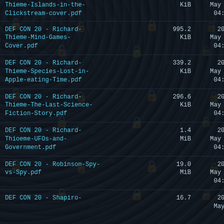Thieme-Islands-in-the-Clickstream-cover.pdf	KiB	May 16 04:31
DEF CON 20 - Richard-Thieme-Mind-Games-Cover.pdf	995.2 KiB	2020 May 16 04:31
DEF CON 20 - Richard-Thieme-Species-Lost-in-Apple-eating-Time.pdf	339.2 KiB	2020 May 16 04:31
DEF CON 20 - Richard-Thieme-The-Last-Science-Fiction-Story.pdf	296.6 KiB	2020 May 16 04:31
DEF CON 20 - Richard-Thioeme-UFOs-and-Government.pdf	1.4 MiB	2020 May 16 04:31
DEF CON 20 - Robinson-Spy-vs-Spy.pdf	19.0 MiB	2020 May 16 04:31
DEF CON 20 - Shapiro-...	16.7	2020 May 16